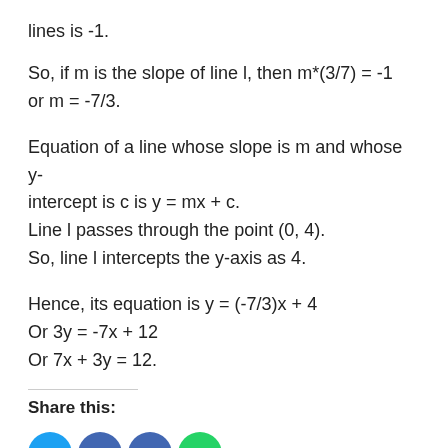lines is -1.
So, if m is the slope of line l, then m*(3/7) = -1 or m = -7/3.
Equation of a line whose slope is m and whose y-intercept is c is y = mx + c.
Line l passes through the point (0, 4).
So, line l intercepts the y-axis as 4.
Hence, its equation is y = (-7/3)x + 4
Or 3y = -7x + 12
Or 7x + 3y = 12.
Share this:
[Figure (other): Social media share icons: three partially visible circular icons in blue and green colors]